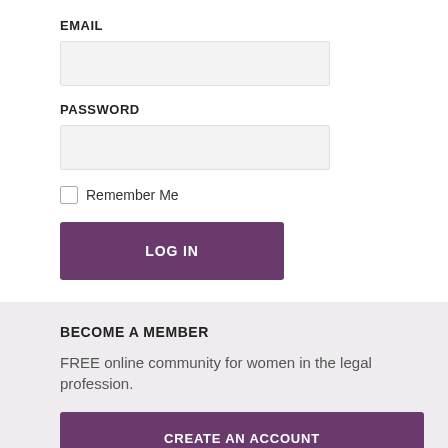EMAIL
[Figure (other): Email text input field, light gray background, empty]
PASSWORD
[Figure (other): Password text input field, light gray background, empty]
Remember Me
LOG IN
BECOME A MEMBER
FREE online community for women in the legal profession.
CREATE AN ACCOUNT